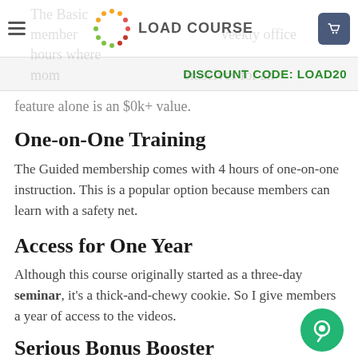LOAD COURSE
DISCOUNT CODE: LOAD20
feature alone is an $0k+ value.
One-on-One Training
The Guided membership comes with 4 hours of one-on-one instruction. This is a popular option because members can learn with a safety net.
Access for One Year
Although this course originally started as a three-day seminar, it’s a thick-and-chewy cookie. So I give members a year of access to the videos.
Serious Bonus Booster